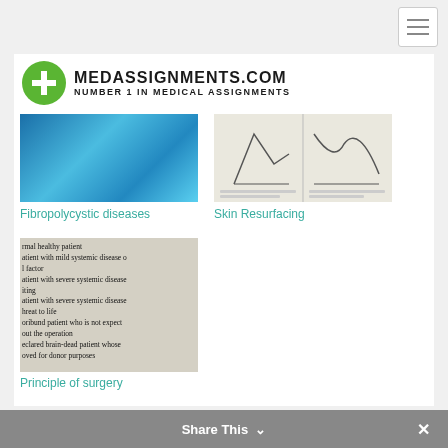[Figure (logo): MedAssignments.com logo — green circle with white plus sign, bold black text MEDASSIGNMENTS.COM, subtext NUMBER 1 IN MEDICAL ASSIGNMENTS]
[Figure (photo): Thumbnail of blue textured microscopy or surface image related to Fibropolycystic diseases]
[Figure (illustration): Thumbnail of medical diagram related to Skin Resurfacing, showing line drawings on light background]
Fibropolycystic diseases
Skin Resurfacing
[Figure (photo): Thumbnail of medical textbook page showing ASA classification text: normal healthy patient, patient with mild systemic disease or factor, patient with severe systemic disease limiting, patient with severe systemic disease threat to life, moribund patient who is not expected to survive the operation, declared brain-dead patient whose organs are approved for donor purposes]
Principle of surgery
Share This ∨  ✕